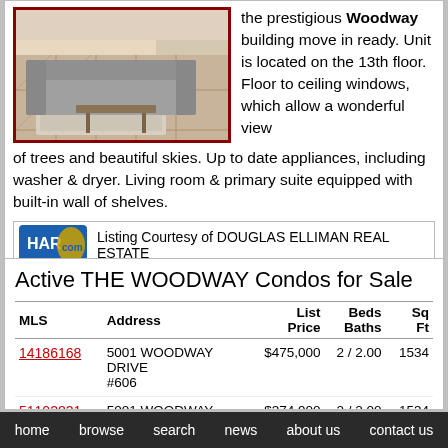[Figure (photo): Interior photo of living room/common area with sofa, rug, and tiled floor]
the prestigious Woodway building move in ready. Unit is located on the 13th floor. Floor to ceiling windows, which allow a wonderful view of trees and beautiful skies. Up to date appliances, including washer & dryer. Living room & primary suite equipped with built-in wall of shelves.
[Figure (logo): HAR.com logo badge in blue and gold]
Listing Courtesy of DOUGLAS ELLIMAN REAL ESTATE
Active THE WOODWAY Condos for Sale
| MLS | Address | List Price | Beds Baths | Sq Ft |
| --- | --- | --- | --- | --- |
| 14186168 | 5001 WOODWAY DRIVE #606 | $475,000 | 2 / 2.00 | 1534 |
| 51102831 | 5001 WOODWAY DRIVE | $374,900 | 2 / 2.00 | 1534 |
home   browse   search   news   about us   contact us